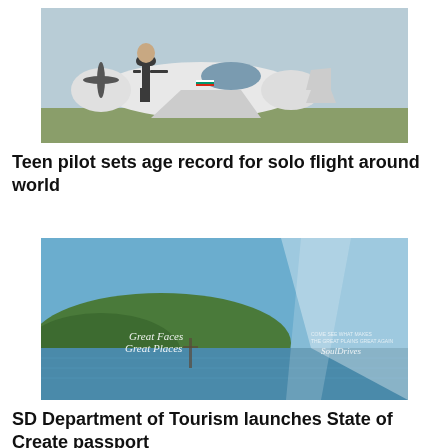[Figure (photo): A person in a flight suit posing on the nose of a small propeller aircraft on a runway or airfield.]
Teen pilot sets age record for solo flight around world
[Figure (photo): A scenic South Dakota landscape advertisement showing a lake, forested hills, and branded text 'Great Faces Great Places' with a Budweiser-style waterfall effect.]
SD Department of Tourism launches State of Create passport